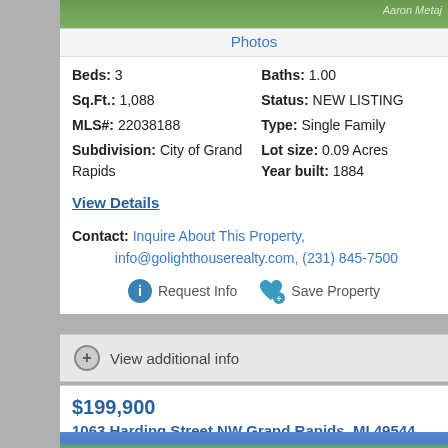[Figure (photo): Partial view of a property photo with green landscape, watermark 'Aaron Metaj' in corner]
Photos
Beds: 3   Baths: 1.00
Sq.Ft.: 1,088   Status: NEW LISTING
MLS#: 22038188   Type: Single Family
Subdivision: City of Grand Rapids   Lot size: 0.09 Acres
Year built: 1884
View Details
Contact: Inquire About This Property, info@golighthouserealty.com, (231) 845-7500
Request Info   Save Property
View additional info
$199,900
1063 Harding Street NW Grand Rapids, MI 49544
[Figure (photo): Partial view of another property photo with blue sky and trees]